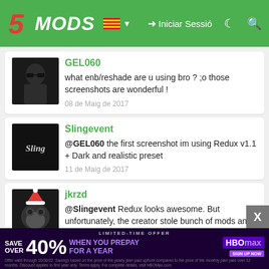5MODS — Iniciar Sessió
GEL060
what enb/reshade are u using bro ? ;o those screenshots are wonderful !
08 de Maig de 2017
Slingevent
@GEL060 the first screenshot im using Redux v1.1 + Dark and realistic preset
11 de Maig de 2017
jkrzd
@Slingevent Redux looks awesome. But unfortunately, the creator stole bunch of mods and put in one package. in other words, Redux is Bunch of stolen files. Not a Mod.
[Figure (infographic): HBO Max ad banner: SAVE OVER 40% WHEN YOU PREPAY FOR A YEAR]